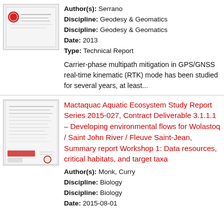[Figure (other): Thumbnail image of document with red emblem/logo]
Author(s): Serrano
Discipline: Geodesy & Geomatics
Discipline: Geodesy & Geomatics
Date: 2013
Type: Technical Report
Carrier-phase multipath mitigation in GPS/GNSS real-time kinematic (RTK) mode has been studied for several years, at least...
[Figure (other): Thumbnail image of MAES document report]
Mactaquac Aquatic Ecosystem Study Report Series 2015-027, Contract Deliverable 3.1.1.1 – Developing environmental flows for Wolastoq / Saint John River / Fleuve Saint-Jean, Summary report Workshop 1: Data resources, critical habitats, and target taxa
Author(s): Monk, Curry
Discipline: Biology
Discipline: Biology
Date: 2015-08-01